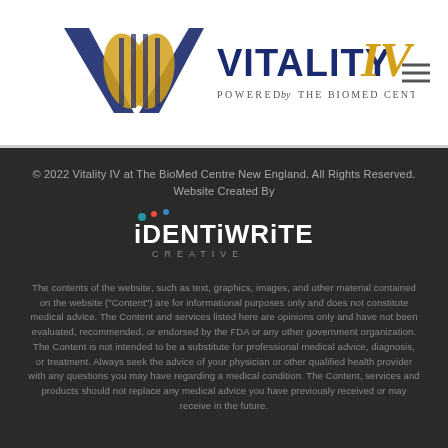[Figure (logo): Vitality IV logo with DNA helix wave icon in blue and gold, text 'VITALITY IV' with italic slash, 'Powered by The BioMed Center' tagline below, hamburger menu icon at right]
© 2022 Vitality IV at The BioMed Centre New England. All Rights Reserved. Website Created By
[Figure (logo): IdentiWrite Creative logo in white/grey on dark background]
The contents of the website, such as text, graphics, images, and other material contained on the website ("Content") are for informational purposes only and does not constitute medical advice. The Content and services listed here are opinions only and have not been evaluated, recommended, or endorsed by the FDA or any other government organization. The Content is not intended to be a substitute for professional medical advice, diagnosis, or treatment. Always seek the advice of your physician or other qualified health provider with any questions you may have regarding a medical condition. The Content, services and products should not replace any medical advice you have previously received or may receive in the future.